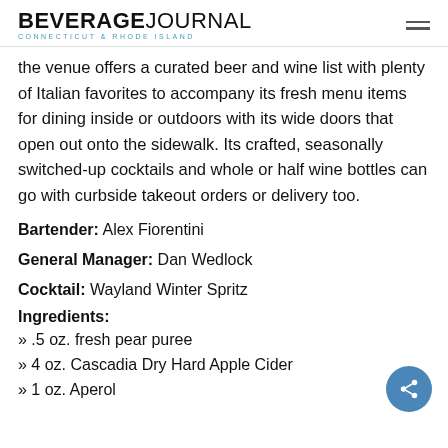BEVERAGE JOURNAL CONNECTICUT & RHODE ISLAND
the venue offers a curated beer and wine list with plenty of Italian favorites to accompany its fresh menu items for dining inside or outdoors with its wide doors that open out onto the sidewalk. Its crafted, seasonally switched-up cocktails and whole or half wine bottles can go with curbside takeout orders or delivery too.
Bartender: Alex Fiorentini
General Manager: Dan Wedlock
Cocktail: Wayland Winter Spritz
Ingredients:
» .5 oz. fresh pear puree
» 4 oz. Cascadia Dry Hard Apple Cider
» 1 oz. Aperol